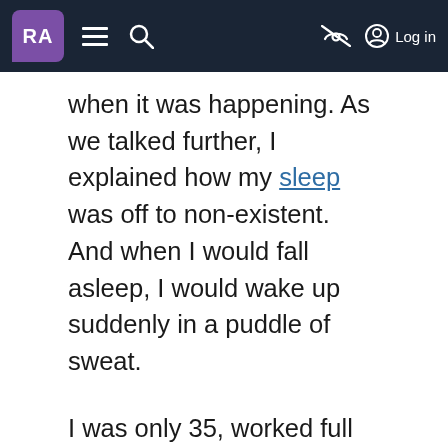RA [logo] — navigation icons — Log in
when it was happening. As we talked further, I explained how my sleep was off to non-existent. And when I would fall asleep, I would wake up suddenly in a puddle of sweat.
I was only 35, worked full time as an occupational therapist, and also worked a per-diem job. I had been diagnosed with rheumatoid arthritis (RA) in my twenties.
I was married in 2008 at 32 years old and was trying to have a family. At that point, I had been living the ups and downs of RA for